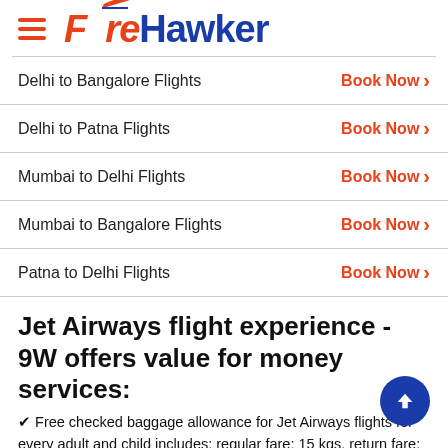[Figure (logo): FareHawker logo with hamburger menu icon, airplane graphic, orange 'Fare' and blue 'Hawker' text]
Delhi to Bangalore Flights — Book Now >
Delhi to Patna Flights — Book Now >
Mumbai to Delhi Flights — Book Now >
Mumbai to Bangalore Flights — Book Now >
Patna to Delhi Flights — Book Now >
Jet Airways flight experience - 9W offers value for money services:
✔ Free checked baggage allowance for Jet Airways flights for every adult and child includes: regular fare: 15 kgs, return fare: 15 kgs. The dimensions of the checked baggage should not exceed 62 inches in the sum of length, breadth and width. Passengers can book prepaid excess baggage 6 hours prior to departure at the